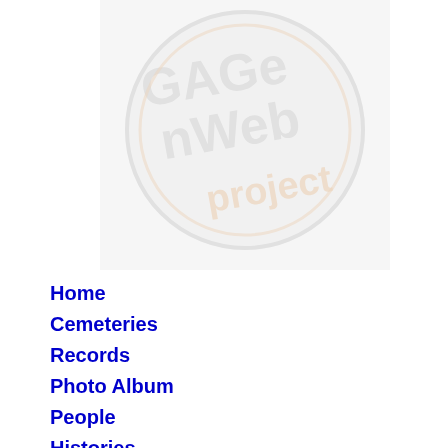[Figure (logo): GAGenWeb Project logo watermark, gray and orange tones]
Home
Cemeteries
Records
Photo Album
People
Histories
Military
Resources
Neighbors
Queries/Mail
USGenWeb
GaGenWeb
Archives
| Last Name | First Name |
| --- | --- |
| Newsome | Nancy |
| Payne | Mattie |
| Payne | Mattie |
| Ramsey | Betty J. |
| Robinson | Jeff |
| Seals | Samuel |
| Shelnut | Margaret |
| Sims | A.B. |
| Sims | Leroy |
| Sims | Lizzie |
| Slack | Calvin |
| Slack | Eugene |